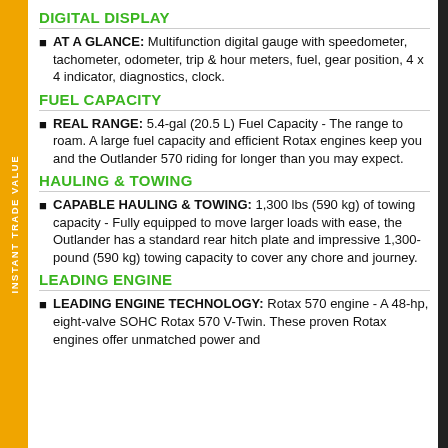DIGITAL DISPLAY
AT A GLANCE: Multifunction digital gauge with speedometer, tachometer, odometer, trip & hour meters, fuel, gear position, 4 x 4 indicator, diagnostics, clock.
FUEL CAPACITY
REAL RANGE: 5.4-gal (20.5 L) Fuel Capacity - The range to roam. A large fuel capacity and efficient Rotax engines keep you and the Outlander 570 riding for longer than you may expect.
HAULING & TOWING
CAPABLE HAULING & TOWING: 1,300 lbs (590 kg) of towing capacity - Fully equipped to move larger loads with ease, the Outlander has a standard rear hitch plate and impressive 1,300-pound (590 kg) towing capacity to cover any chore and journey.
LEADING ENGINE
LEADING ENGINE TECHNOLOGY: Rotax 570 engine - A 48-hp, eight-valve SOHC Rotax 570 V-Twin. These proven Rotax engines offer unmatched power and